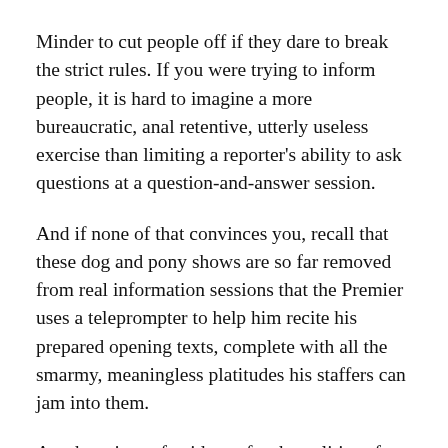Minder to cut people off if they dare to break the strict rules. If you were trying to inform people, it is hard to imagine a more bureaucratic, anal retentive, utterly useless exercise than limiting a reporter's ability to ask questions at a question-and-answer session.
And if none of that convinces you, recall that these dog and pony shows are so far removed from real information sessions that the Premier uses a teleprompter to help him recite his prepared opening texts, complete with all the smarmy, meaningless platitudes his staffers can jam into them.
Another piece of evidence for the politics of these dog and pony shows is the way Dr. Fitzgerald limits what she explains. She seldom explains how cases are linked or how she concludes that cases are “community